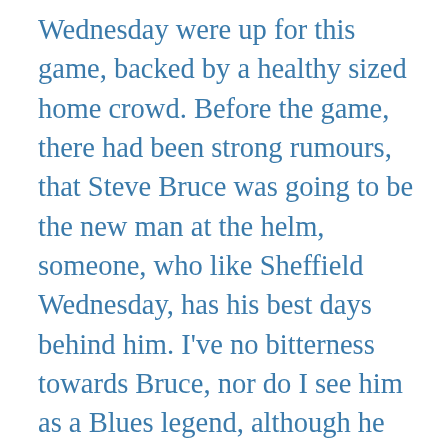Wednesday were up for this game, backed by a healthy sized home crowd. Before the game, there had been strong rumours, that Steve Bruce was going to be the new man at the helm, someone, who like Sheffield Wednesday, has his best days behind him. I've no bitterness towards Bruce, nor do I see him as a Blues legend, although he served us a player, and then manager, I just can't see him